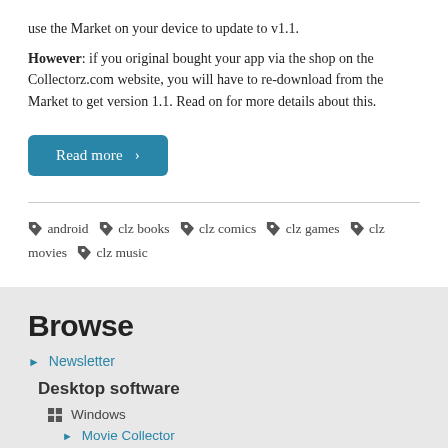use the Market on your device to update to v1.1.
However: if you original bought your app via the shop on the Collectorz.com website, you will have to re-download from the Market to get version 1.1. Read on for more details about this.
Read more >
android  clz books  clz comics  clz games  clz movies  clz music
Browse
Newsletter
Desktop software
Windows
Movie Collector
Book Collector